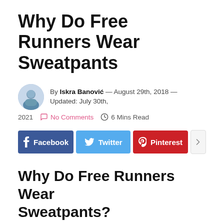Why Do Free Runners Wear Sweatpants
By Iskra Banović — August 29th, 2018 — Updated: July 30th, 2021   No Comments   6 Mins Read
[Figure (infographic): Social share buttons: Facebook, Twitter, Pinterest, and a share icon button]
Why Do Free Runners Wear Sweatpants?
As with any exercise regime, you're going to need the perfect clothes to keep you safe and comfortable while pushing your body to its limits. This has led